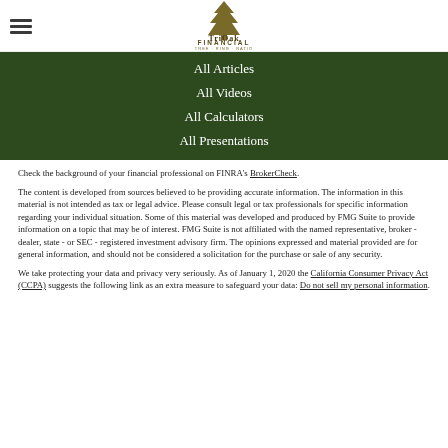[Figure (logo): TriOak Financial logo with tree icon and text 'TriOak FINANCIAL']
All Articles
All Videos
All Calculators
All Presentations
Check the background of your financial professional on FINRA's BrokerCheck.
The content is developed from sources believed to be providing accurate information. The information in this material is not intended as tax or legal advice. Please consult legal or tax professionals for specific information regarding your individual situation. Some of this material was developed and produced by FMG Suite to provide information on a topic that may be of interest. FMG Suite is not affiliated with the named representative, broker - dealer, state - or SEC - registered investment advisory firm. The opinions expressed and material provided are for general information, and should not be considered a solicitation for the purchase or sale of any security.
We take protecting your data and privacy very seriously. As of January 1, 2020 the California Consumer Privacy Act (CCPA) suggests the following link as an extra measure to safeguard your data: Do not sell my personal information.